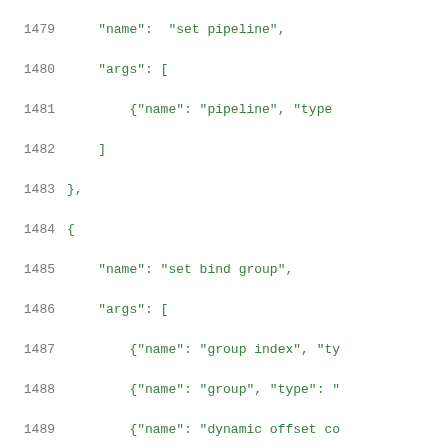Code listing lines 1479-1500 showing JSON structure with name, args fields for set pipeline, set bind group, and draw commands
[Figure (screenshot): Source code viewer showing JSON/code with line numbers 1479-1500 on left in gray and code content in green monospace font. Content includes JSON-like structure with set pipeline, set bind group, and draw commands with their respective args arrays.]